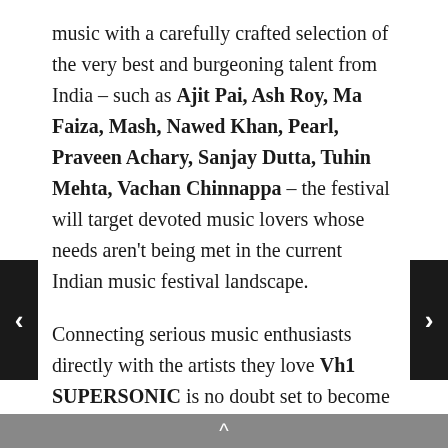music with a carefully crafted selection of the very best and burgeoning talent from India – such as Ajit Pai, Ash Roy, Ma Faiza, Mash, Nawed Khan, Pearl, Praveen Achary, Sanjay Dutta, Tuhin Mehta, Vachan Chinnappa – the festival will target devoted music lovers whose needs aren't being met in the current Indian music festival landscape.
Connecting serious music enthusiasts directly with the artists they love Vh1 SUPERSONIC is no doubt set to become a sanctuary for forward-thinking music fans looking for life-affirming experiences to share with the great friends old and new. Maintaining a healthy balance between popular and underground music, this will be a festival for the